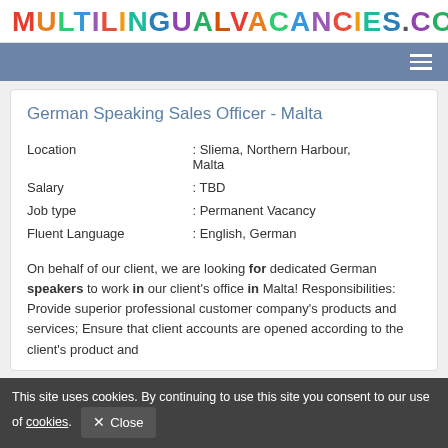MULTILINGUALVACANCIES.COM
German Speaking Sales Officer - Malta
| Location | : Sliema, Northern Harbour, Malta |
| Salary | : TBD |
| Job type | : Permanent Vacancy |
| Fluent Language | : English, German |
On behalf of our client, we are looking for dedicated German speakers to work in our client's office in Malta! Responsibilities: Provide superior professional customer company's products and services; Ensure that client accounts are opened according to the client's product and
This site uses cookies. By continuing to use this site you consent to our use of cookies. Close